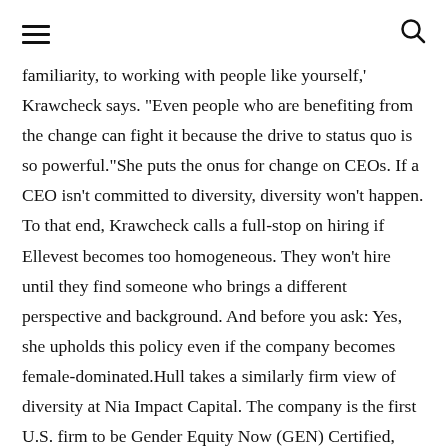≡  🔍
familiarity, to working with people like yourself,' Krawcheck says. "Even people who are benefiting from the change can fight it because the drive to status quo is so powerful."She puts the onus for change on CEOs. If a CEO isn't committed to diversity, diversity won't happen. To that end, Krawcheck calls a full-stop on hiring if Ellevest becomes too homogeneous. They won't hire until they find someone who brings a different perspective and background. And before you ask: Yes, she upholds this policy even if the company becomes female-dominated.Hull takes a similarly firm view of diversity at Nia Impact Capital. The company is the first U.S. firm to be Gender Equity Now (GEN) Certified, which recognizes businesses that meet a standard of excellence across five areas of workplace culture including the gender perception gap, a certification Hull recommends all companies